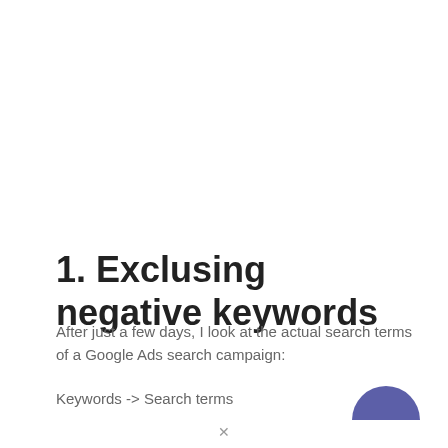1. Exclusing negative keywords
After just a few days, I look at the actual search terms of a Google Ads search campaign:
Keywords -> Search terms